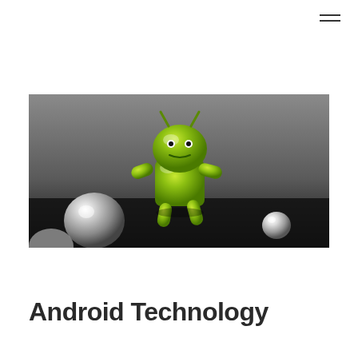[Figure (other): Hamburger menu icon (three horizontal lines) in top right corner]
[Figure (photo): 3D rendered Android mascot robot figure (green, shiny) in a running pose on a dark reflective surface, with metallic chrome spheres around it, against a grey gradient background]
Android Technology